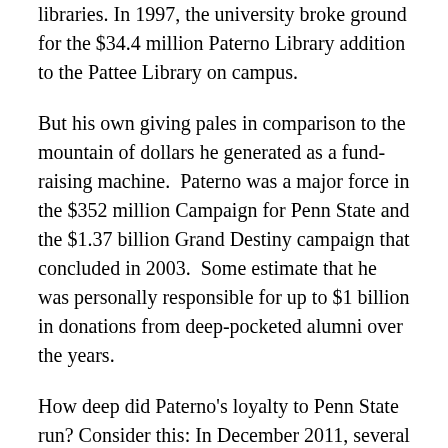libraries. In 1997, the university broke ground for the $34.4 million Paterno Library addition to the Pattee Library on campus.
But his own giving pales in comparison to the mountain of dollars he generated as a fund-raising machine. Paterno was a major force in the $352 million Campaign for Penn State and the $1.37 billion Grand Destiny campaign that concluded in 2003. Some estimate that he was personally responsible for up to $1 billion in donations from deep-pocketed alumni over the years.
How deep did Paterno's loyalty to Penn State run? Consider this: In December 2011, several weeks after Penn State fired him, PAterno made a pair of $100,000 contributions to the school – one gift split between the Paterno Library and the Paterno Fellows program, and another, given to the Suzanne Pohland Paterno Catholic...